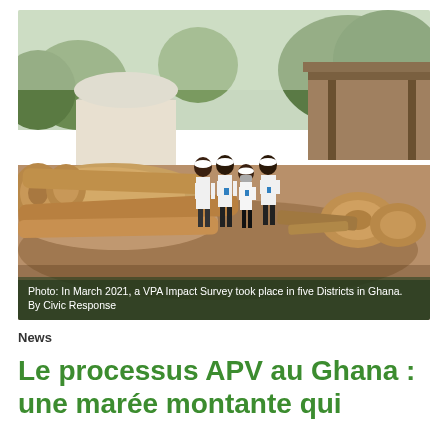[Figure (photo): Four people in white shirts and caps standing in front of large timber logs at a sawmill or timber yard, with a building and trees visible in the background. Photo taken during a VPA Impact Survey in Ghana, March 2021.]
Photo: In March 2021, a VPA Impact Survey took place in five Districts in Ghana. By Civic Response
News
Le processus APV au Ghana : une marée montante qui